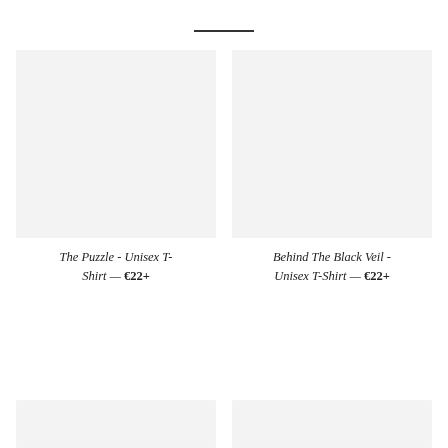[Figure (other): Horizontal rule divider line at top of page]
[Figure (photo): Product image placeholder — light grey rectangle for The Puzzle Unisex T-Shirt]
The Puzzle - Unisex T-Shirt — €22+
[Figure (photo): Product image placeholder — light grey rectangle for Behind The Black Veil Unisex T-Shirt]
Behind The Black Veil - Unisex T-Shirt — €22+
[Figure (photo): Partial product image placeholder at bottom left — light grey rectangle, partially visible]
[Figure (photo): Partial product image placeholder at bottom right — light grey rectangle, partially visible]